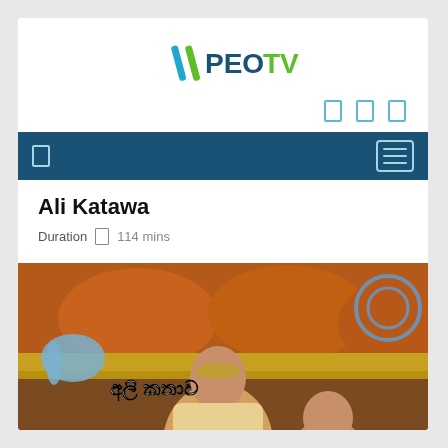[Figure (logo): PEOTV logo with stylized lightning bolt slash marks in blue/green and bold text PEOTV]
[Figure (other): Three small rectangle icons in light blue representing navigation/social icons]
[Figure (other): Dark blue navigation bar with a small rectangle icon on left and hamburger menu icon on right]
Ali Katawa
Duration  114 mins
[Figure (photo): Photo of a woman in traditional Sri Lankan costume with jewelry and ornate headpiece interacting with a baby/toddler in a decorated studio setting with orange cushions. Sinhala text 'ali kathawa' overlaid on top left with elephant illustration.]